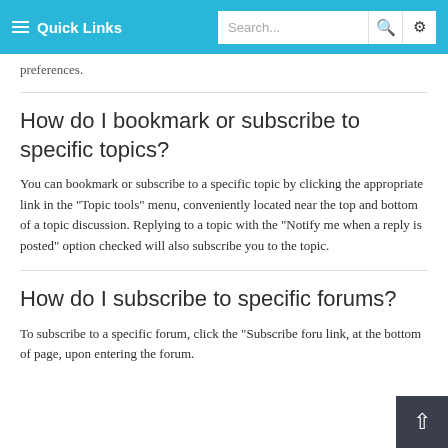Quick Links | Search...
preferences.
How do I bookmark or subscribe to specific topics?
You can bookmark or subscribe to a specific topic by clicking the appropriate link in the "Topic tools" menu, conveniently located near the top and bottom of a topic discussion. Replying to a topic with the "Notify me when a reply is posted" option checked will also subscribe you to the topic.
How do I subscribe to specific forums?
To subscribe to a specific forum, click the "Subscribe foru link, at the bottom of page, upon entering the forum.